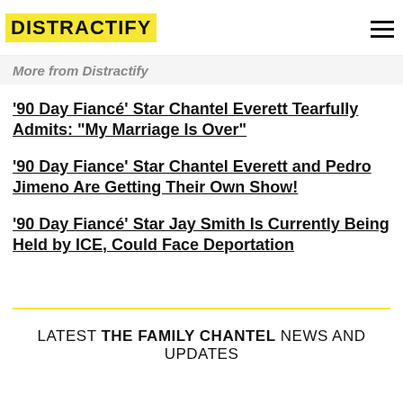DISTRACTIFY
More from Distractify
'90 Day Fiancé' Star Chantel Everett Tearfully Admits: "My Marriage Is Over"
'90 Day Fiance' Star Chantel Everett and Pedro Jimeno Are Getting Their Own Show!
'90 Day Fiancé' Star Jay Smith Is Currently Being Held by ICE, Could Face Deportation
LATEST THE FAMILY CHANTEL NEWS AND UPDATES